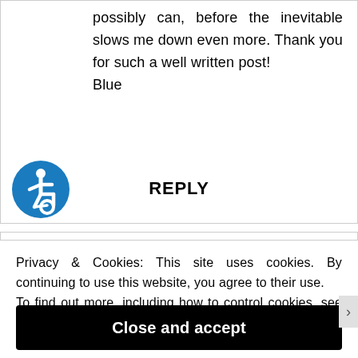possibly can, before the inevitable slows me down even more. Thank you for such a well written post!
Blue
REPLY
[Figure (illustration): Blue circular accessibility icon with white wheelchair symbol]
Privacy & Cookies: This site uses cookies. By continuing to use this website, you agree to their use.
To find out more, including how to control cookies, see here: Cookie Policy
Close and accept